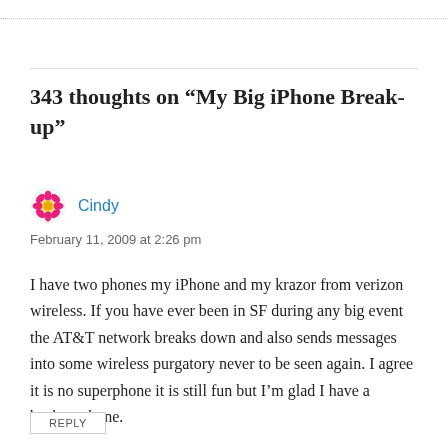343 thoughts on “My Big iPhone Break-up”
Cindy
February 11, 2009 at 2:26 pm
I have two phones my iPhone and my krazor from verizon wireless. If you have ever been in SF during any big event the AT&T network breaks down and also sends messages into some wireless purgatory never to be seen again. I agree it is no superphone it is still fun but I’m glad I have a backup phone.
REPLY